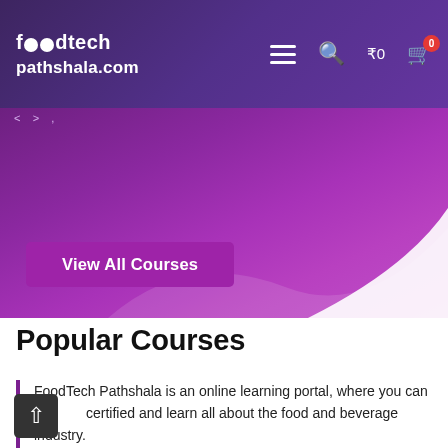foodtech pathshala.com — navigation bar with menu, search, ₹0 cart
[Figure (screenshot): Purple hero banner section of FoodTech Pathshala website with gradient background and white curve decoration]
View All Courses
Popular Courses
FoodTech Pathshala is an online learning portal, where you can certified and learn all about the food and beverage industry. We give you access to both online classes and e-learning modules, which can be used for on-demand learning, anytime anywhere.